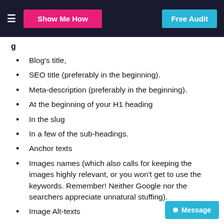Show Me How | Free Audit
Blog's title,
SEO title (preferably in the beginning).
Meta-description (preferably in the beginning).
At the beginning of your H1 heading
In the slug
In a few of the sub-headings.
Anchor texts
Images names (which also calls for keeping the images highly relevant, or you won't get to use the keywords. Remember! Neither Google nor the searchers appreciate unnatural stuffing).
Image Alt-texts